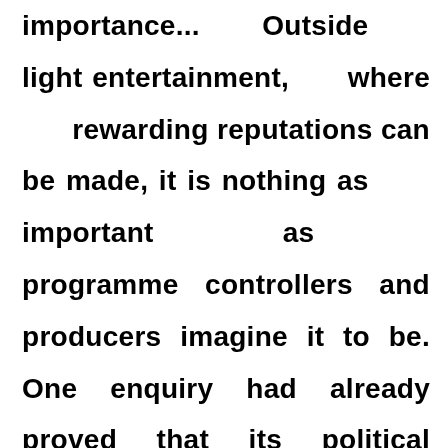importance... Outside light entertainment, where rewarding reputations can be made, it is nothing as important as programme controllers and producers imagine it to be. One enquiry had already proved that its political influence has been enormously exaggerated. It can make